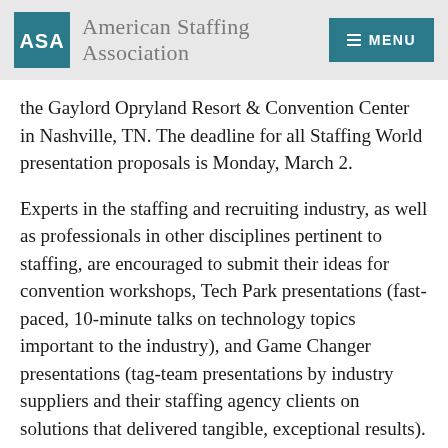American Staffing Association
the Gaylord Opryland Resort & Convention Center in Nashville, TN. The deadline for all Staffing World presentation proposals is Monday, March 2.
Experts in the staffing and recruiting industry, as well as professionals in other disciplines pertinent to staffing, are encouraged to submit their ideas for convention workshops, Tech Park presentations (fast-paced, 10-minute talks on technology topics important to the industry), and Game Changer presentations (tag-team presentations by industry suppliers and their staffing agency clients on solutions that delivered tangible, exceptional results).
In addition, ASA is accepting presentation proposals for ASA staffing World...